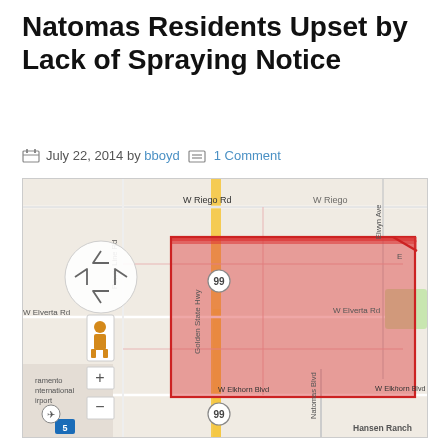Natomas Residents Upset by Lack of Spraying Notice
July 22, 2014 by bboyd  1 Comment
[Figure (map): Google Maps screenshot showing a red shaded rectangular area in the Natomas neighborhood of Sacramento, CA. The map shows streets including W Riego Rd, W Elverta Rd, W Elkhorn Blvd, Golden State Hwy (Hwy 99), Power Line Rd, and Natomas Blvd. Sacramento International Airport is visible in the lower left. The red highlighted area covers a large residential zone between these roads.]